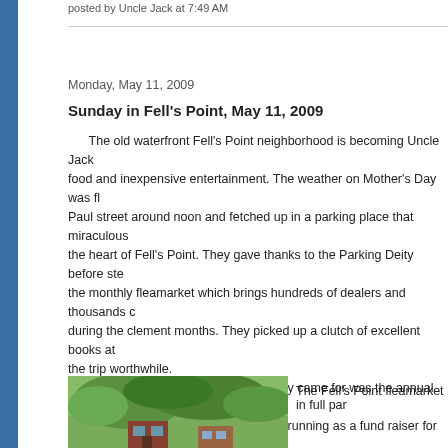posted by Uncle Jack at 7:49 AM
Monday, May 11, 2009
Sunday in Fell's Point, May 11, 2009
The old waterfront Fell's Point neighborhood is becoming Uncle Jack's go-to destination for good food and inexpensive entertainment. The weather on Mother's Day was fine and they left Charles Paul street around noon and fetched up in a parking place that miraculously opened up right in the heart of Fell's Point. They gave thanks to the Parking Deity before steping down to attend the monthly fleamarket which brings hundreds of dealers and thousands of shoppers to the area during the clement months. They picked up a clutch of excellent books at bargain prices to make the trip worthwhile.
 But there was more. What they really came for was the annual open house which the local preservation society has been running as a fund raiser for the past few years. A couple of elegant condos carved out of an old warehouse building which cater naturally to those for whom a recession is a mere speed bump on the golden highway of life. Uncle Jack would still rather live in Charles Village with a view of the Johns Hopkins library than the harbor but.....
 They returned to "Bertha's", one of Charm City's most popular purveyors of Prince Island mussels cooked in garlic sauce and washed down with a pint of Guinness, which is especially when followed almost immediately by a nap, which on this occa...
 Urban living at its finest.
[Figure (photo): Outdoor photo showing trees with green foliage and a building in Fell's Point]
The Fell's Point fleamarket in full par